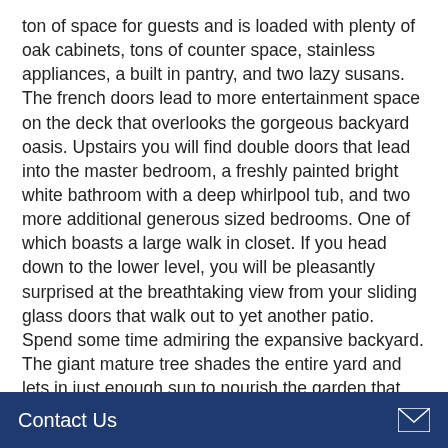ton of space for guests and is loaded with plenty of oak cabinets, tons of counter space, stainless appliances, a built in pantry, and two lazy susans. The french doors lead to more entertainment space on the deck that overlooks the gorgeous backyard oasis. Upstairs you will find double doors that lead into the master bedroom, a freshly painted bright white bathroom with a deep whirlpool tub, and two more additional generous sized bedrooms. One of which boasts a large walk in closet. If you head down to the lower level, you will be pleasantly surprised at the breathtaking view from your sliding glass doors that walk out to yet another patio. Spend some time admiring the expansive backyard. The giant mature tree shades the entire yard and lets in just enough sun to nourish the garden that boasts bleeding hearts, lilac bush, & flox just to name a few. The new (2020) oversized washer and dryer are located in the laundry room which is big enough for a workout area or space for an office. If the plethora of storage
Contact Us